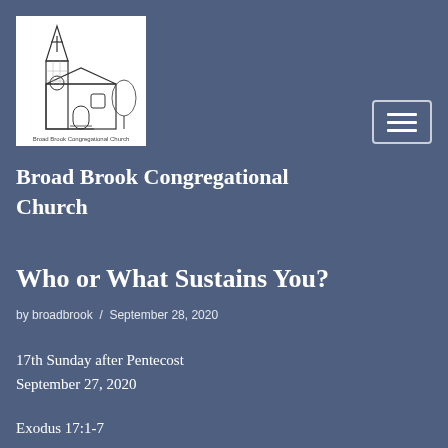[Figure (illustration): Line drawing illustration of Broad Brook Congregational Church building with text caption 'Broad Brook Congregational Church' below image]
Broad Brook Congregational Church
Who or What Sustains You?
by broadbrook / September 28, 2020
17th Sunday after Pentecost
September 27, 2020
Exodus 17:1-7